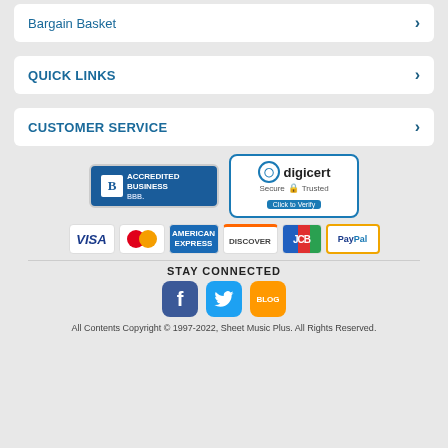Bargain Basket
QUICK LINKS
CUSTOMER SERVICE
[Figure (logo): BBB Accredited Business badge and DigiCert Secure Trusted badge]
[Figure (logo): Payment method icons: VISA, MasterCard, American Express, Discover, JCB, PayPal]
STAY CONNECTED
[Figure (logo): Social media icons: Facebook, Twitter, Blog]
All Contents Copyright © 1997-2022, Sheet Music Plus. All Rights Reserved.